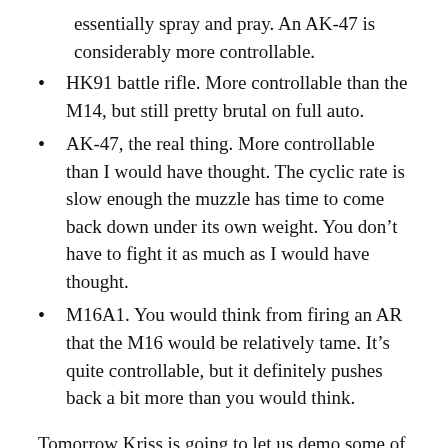essentially spray and pray. An AK-47 is considerably more controllable.
HK91 battle rifle. More controllable than the M14, but still pretty brutal on full auto.
AK-47, the real thing. More controllable than I would have thought. The cyclic rate is slow enough the muzzle has time to come back down under its own weight. You don’t have to fight it as much as I would have thought.
M16A1. You would think from firing an AR that the M16 would be relatively tame. It’s quite controllable, but it definitely pushes back a bit more than you would think.
Tomorrow Kriss is going to let us demo some of